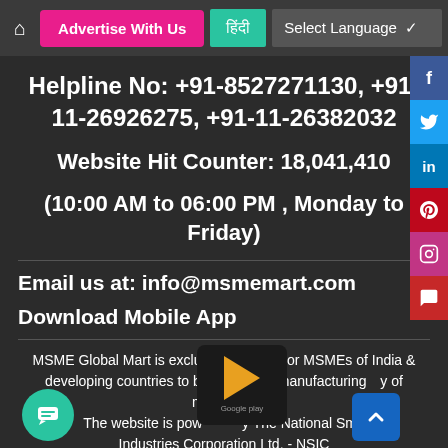Advertise With Us | हिंदी | Select Language
Helpline No: +91-8527271130, +91-11-26926275, +91-11-26382032
Website Hit Counter: 18,041,410
(10:00 AM to 06:00 PM , Monday to Friday)
Email us at: info@msmemart.com
Download Mobile App
MSME Global Mart is exclusively meant for MSMEs of India & developing countries to boost export, manufacturing & quality of machines. The website is powered by The National Small Industries Corporation Ltd. - NSIC